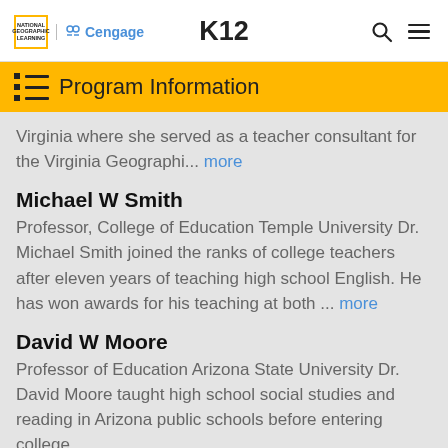National Geographic Learning | Cengage — K12
Program Information
Virginia where she served as a teacher consultant for the Virginia Geographi... more
Michael W Smith
Professor, College of Education Temple University Dr. Michael Smith joined the ranks of college teachers after eleven years of teaching high school English. He has won awards for his teaching at both ... more
David W Moore
Professor of Education Arizona State University Dr. David Moore taught high school social studies and reading in Arizona public schools before entering college